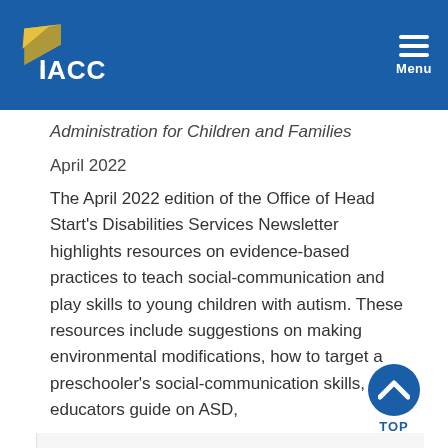IACC Menu
Administration for Children and Families
April 2022
The April 2022 edition of the Office of Head Start's Disabilities Services Newsletter highlights resources on evidence-based practices to teach social-communication and play skills to young children with autism. These resources include suggestions on making environmental modifications, how to target a preschooler's social-communication skills, an educators guide on ASD,